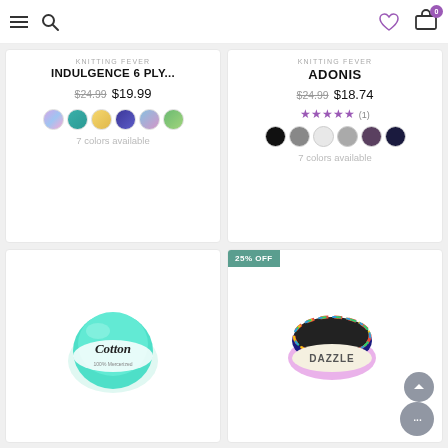Navigation bar with hamburger menu, search icon, heart/wishlist icon, and cart icon (0 items)
KNITTING FEVER
INDULGENCE 6 PLY...
$24.99  $19.99
7 colors available
KNITTING FEVER
ADONIS
$24.99  $18.74
★★★★★ (1)
7 colors available
[Figure (photo): Ball of mint green gradient cotton yarn labeled 'Cotton']
25% OFF
[Figure (photo): Colorful multicolored yarn ball labeled 'Dazzle']